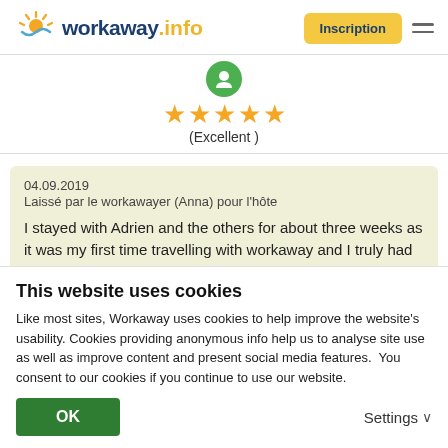workaway.info — Inscription
[Figure (other): Five orange stars rating with '(Excellent)' label below]
04.09.2019
Laissé par le workawayer (Anna) pour l'hôte
I stayed with Adrien and the others for about three weeks as it was my first time travelling with workaway and I truly had very nice time there!! Adrien expects perfection in everything you do and therefore your shift can be quiet
This website uses cookies
Like most sites, Workaway uses cookies to help improve the website's usability. Cookies providing anonymous info help us to analyse site use as well as improve content and present social media features.  You consent to our cookies if you continue to use our website.
OK
Settings